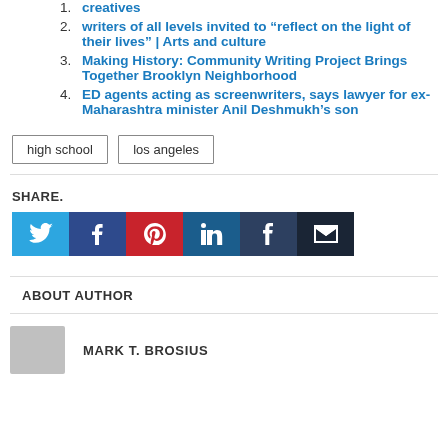creatives
writers of all levels invited to “reflect on the light of their lives” | Arts and culture
Making History: Community Writing Project Brings Together Brooklyn Neighborhood
ED agents acting as screenwriters, says lawyer for ex-Maharashtra minister Anil Deshmukh’s son
high school  los angeles
SHARE.
[Figure (infographic): Social media share buttons: Twitter (blue), Facebook (dark blue), Pinterest (red), LinkedIn (dark blue), Tumblr (dark navy), Email (very dark navy)]
ABOUT AUTHOR
MARK T. BROSIUS